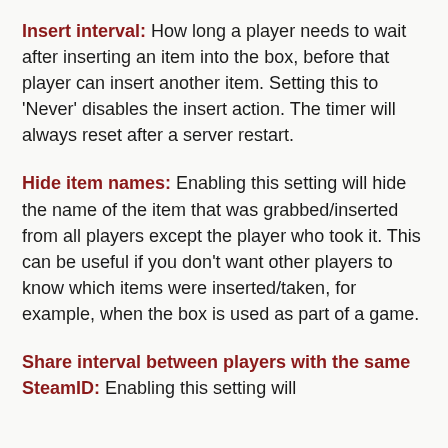Insert interval: How long a player needs to wait after inserting an item into the box, before that player can insert another item. Setting this to 'Never' disables the insert action. The timer will always reset after a server restart.
Hide item names: Enabling this setting will hide the name of the item that was grabbed/inserted from all players except the player who took it. This can be useful if you don't want other players to know which items were inserted/taken, for example, when the box is used as part of a game.
Share interval between players with the same SteamID: Enabling this setting will